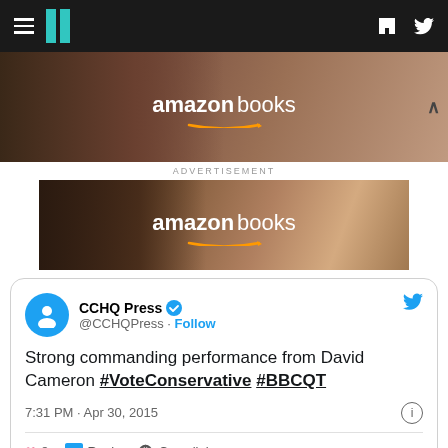HuffPost navigation bar with hamburger menu, logo, Facebook and Twitter icons
[Figure (photo): Amazon Books advertisement banner - person reading a book, with Amazon Books logo in white text]
ADVERTISEMENT
[Figure (photo): Second Amazon Books advertisement banner - people reading together, with Amazon Books logo in white text]
CCHQ Press @CCHQPress · Follow

Strong commanding performance from David Cameron #VoteConservative #BBCQT

7:31 PM · Apr 30, 2015

♥ 8   Reply   Copy link

Read 2 replies